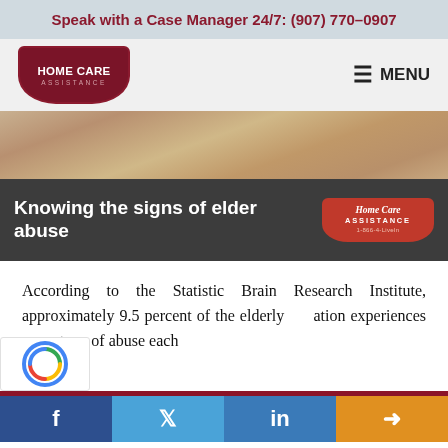Speak with a Case Manager 24/7: (907) 770-0907
[Figure (logo): Home Care Assistance logo in dark red shield/arch shape with white text]
[Figure (screenshot): Website header banner showing elderly hands photo, dark overlay with text 'Knowing the signs of elder abuse' and Home Care Assistance logo with 1-866-4-LiveIn]
According to the Statistic Brain Research Institute, approximately 9.5 percent of the elderly population experiences some type of abuse each
[Figure (other): Social share bar with Facebook, Twitter, LinkedIn, and share buttons]